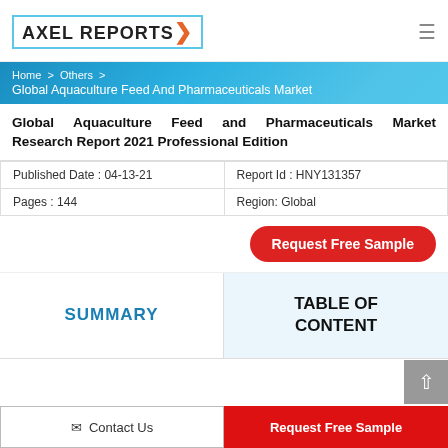AXEL REPORTS
Home > Others > Global Aquaculture Feed And Pharmaceuticals Market
Global Aquaculture Feed and Pharmaceuticals Market Research Report 2021 Professional Edition
| Published Date : 04-13-21 | Report Id : HNY131357 |
| Pages : 144 | Region: Global |
Request Free Sample
SUMMARY
TABLE OF CONTENT
Contact Us | Request Free Sample